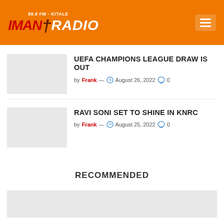IMAN RADIO 88.8 FM - KITALE
UEFA CHAMPIONS LEAGUE DRAW IS OUT
by Frank — August 26, 2022  0
RAVI SONI SET TO SHINE IN KNRC
by Frank — August 25, 2022  0
RECOMMENDED
[Figure (photo): Placeholder image at bottom of page]